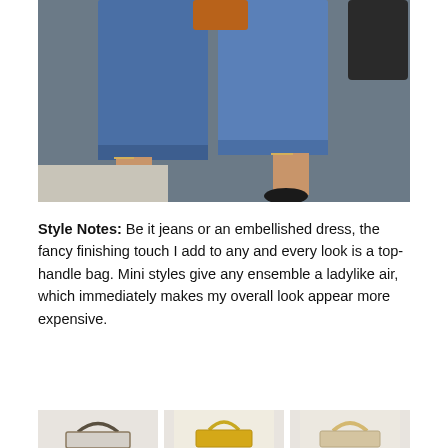[Figure (photo): Street style photo showing a person's legs from the waist down wearing blue jeans with rolled cuffs and black pointed-toe stiletto heels, walking on pavement. An orange/brown bag is partially visible at the top.]
Style Notes: Be it jeans or an embellished dress, the fancy finishing touch I add to any and every look is a top-handle bag. Mini styles give any ensemble a ladylike air, which immediately makes my overall look appear more expensive.
[Figure (photo): Three product photos of handbags with top handles: a dark patterned mini bag, a yellow/gold structured bag, and a light tan/nude structured bag with gold hardware.]